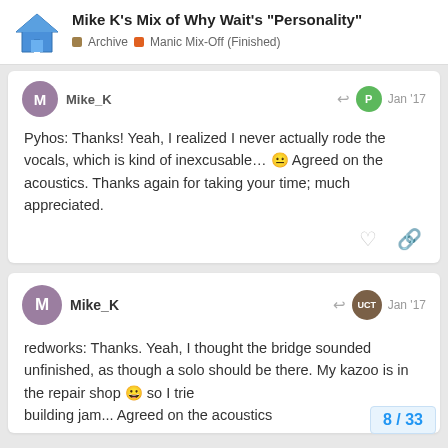Mike K's Mix of Why Wait's "Personality" — Archive > Manic Mix-Off (Finished)
Pyhos: Thanks! Yeah, I realized I never actually rode the vocals, which is kind of inexcusable… 😐 Agreed on the acoustics. Thanks again for taking your time; much appreciated.
redworks: Thanks. Yeah, I thought the bridge sounded unfinished, as though a solo should be there. My kazoo is in the repair shop 😀 so I trie... building jam... Agreed on the acoustics
8 / 33